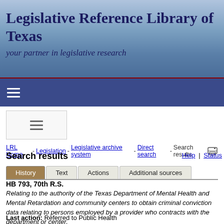Legislative Reference Library of Texas — your partner in legislative research
LRL Home - Legislation - Legislative archive system - Direct search - Search results
Search results
Help | Status
History | Text | Actions | Additional sources
HB 793, 70th R.S.
Relating to the authority of the Texas Department of Mental Health and Mental Retardation and community centers to obtain criminal conviction data relating to persons employed by a provider who contracts with the department or center.
Last action: Referred to Public Health